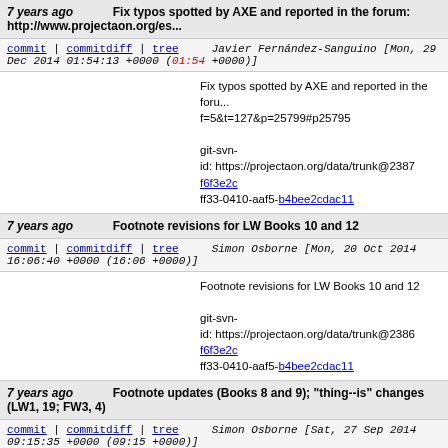7 years ago   Fix typos spotted by AXE and reported in the forum: http://www.projectaon.org/es...
commit | commitdiff | tree   Javier Fernández-Sanguino [Mon, 29 Dec 2014 01:54:13 +0000 (01:54 +0000)]
Fix typos spotted by AXE and reported in the forum... f=5&t=127&p=25799#p25795

git-svn-id: https://projectaon.org/data/trunk@2387 f6f3e2c...ff33-0410-aaf5-b4bee2cdac11
7 years ago   Footnote revisions for LW Books 10 and 12
commit | commitdiff | tree   Simon Osborne [Mon, 20 Oct 2014 16:06:40 +0000 (16:06 +0000)]
Footnote revisions for LW Books 10 and 12

git-svn-id: https://projectaon.org/data/trunk@2386 f6f3e2c...ff33-0410-aaf5-b4bee2cdac11
7 years ago   Footnote updates (Books 8 and 9); "thing--is" changes (LW1, 19; FW3, 4)
commit | commitdiff | tree   Simon Osborne [Sat, 27 Sep 2014 09:15:35 +0000 (09:15 +0000)]